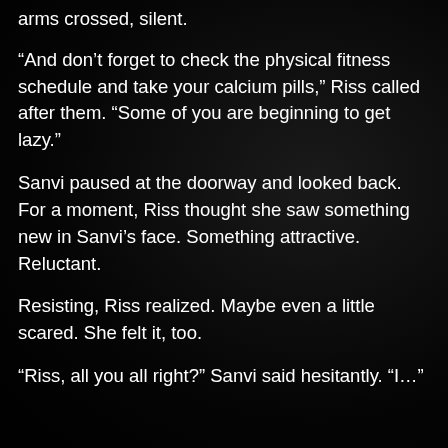arms crossed, silent.
“And don’t forget to check the physical fitness schedule and take your calcium pills,” Riss called after them. “Some of you are beginning to get lazy.”
Sanvi paused at the doorway and looked back. For a moment, Riss thought she saw something new in Sanvi’s face. Something attractive. Reluctant.
Resisting, Riss realized. Maybe even a little scared. She felt it, too.
“Riss, all you all right?” Sanvi said hesitantly. “I…”